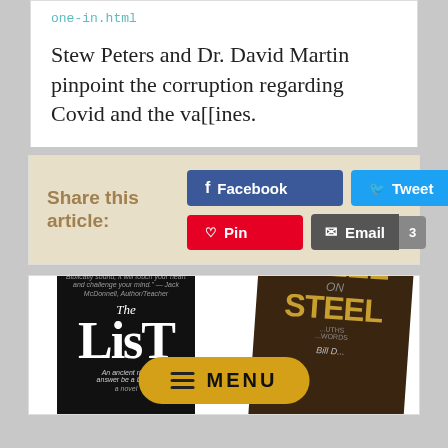one-in.html
Stew Peters and Dr. David Martin pinpoint the corruption regarding Covid and the va[[ines.
Share this article:
[Figure (screenshot): Social share buttons: Facebook, Tweet, Pin, Email with count 3]
[Figure (photo): Two book covers: 'The List' and 'Steel on Steel Volume 1' with a MENU pill button overlay]